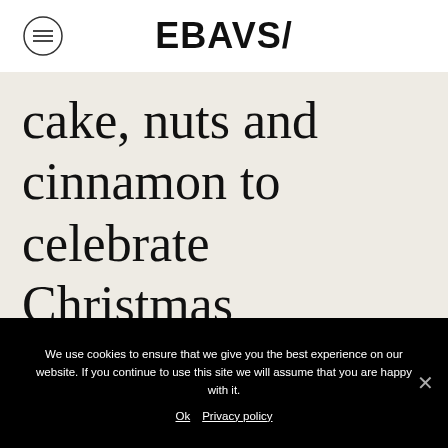EBAVS/
cake, nuts and cinnamon to celebrate Christmas
We use cookies to ensure that we give you the best experience on our website. If you continue to use this site we will assume that you are happy with it.
Ok   Privacy policy